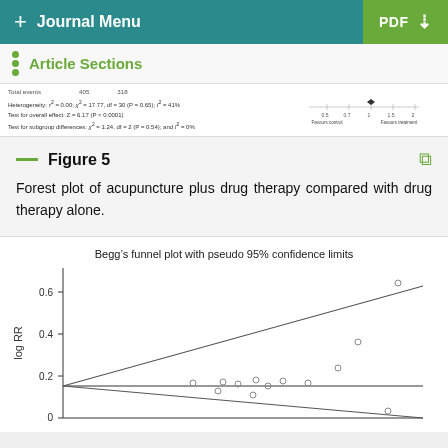+ Journal Menu | PDF
Article Sections
[Figure (other): Partial forest plot snippet showing Total events rows, Heterogeneity and overall effect statistics, and a partial forest plot chart with scale 0.5 to 2 favouring control vs treatment]
Figure 5
Forest plot of acupuncture plus drug therapy compared with drug therapy alone.
[Figure (scatter-plot): Begg's funnel plot with pseudo 95% confidence limits showing log RR on y-axis (0 to 0.6+) with scattered data points and two diverging boundary lines from left, and a horizontal reference line around 0.15]